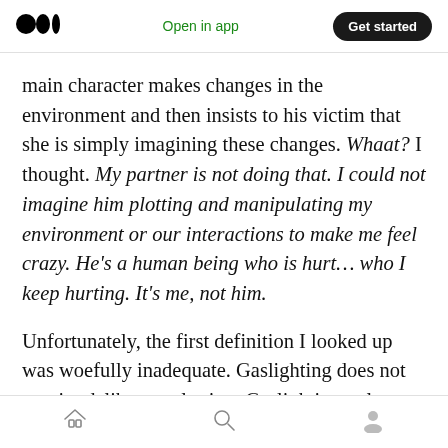Medium logo | Open in app | Get started
main character makes changes in the environment and then insists to his victim that she is simply imagining these changes. Whaat? I thought. My partner is not doing that. I could not imagine him plotting and manipulating my environment or our interactions to make me feel crazy. He’s a human being who is hurt… who I keep hurting. It’s me, not him.
Unfortunately, the first definition I looked up was woefully inadequate. Gaslighting does not require deliberate plotting. Gaslighting only
Home | Search | Profile